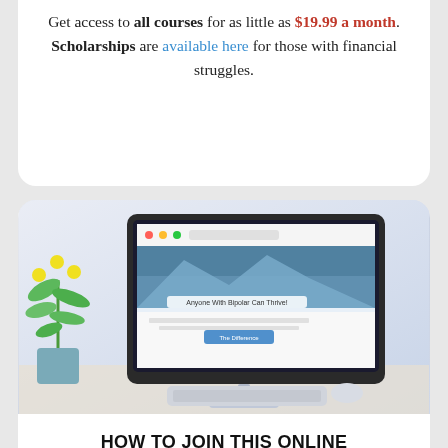Get access to all courses for as little as $19.99 a month. Scholarships are available here for those with financial struggles.
[Figure (photo): Photo of an iMac computer on a desk next to a potted plant, with a website showing 'Anyone With Bipolar Can Thrive!' displayed on the screen.]
HOW TO JOIN THIS ONLINE COMMUNITY
Since 2003, the Bipolar IN Order program has helped more than 150,000 people in bringing out the best out for Bipolar and Depression. Today there is this...